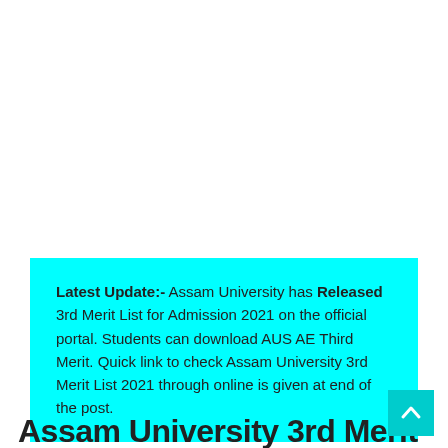Latest Update:- Assam University has Released 3rd Merit List for Admission 2021 on the official portal. Students can download AUS AE Third Merit. Quick link to check Assam University 3rd Merit List 2021 through online is given at end of the post.
Assam University 3rd Merit List...